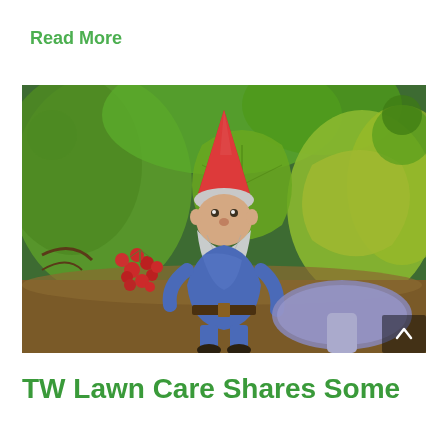Read More
[Figure (photo): A garden gnome figurine with a red pointed hat, white beard, and blue outfit, seated among lush green foliage, large leaves, and clusters of red berries on a mossy surface, with a mushroom visible to the right.]
TW Lawn Care Shares Some